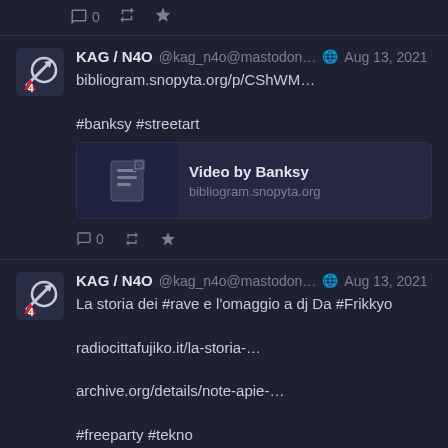[Figure (screenshot): Action bar with reply, repost, and star icons at top]
KAG / N4O @kag_n4o@mastodon... Aug 13, 2021
bibliogram.snopyta.org/p/CShWM...

#banksy #streetart
[Figure (screenshot): Link card: Video by Banksy, bibliogram.snopyta.org]
Action bar: 0 replies, repost, star
KAG / N4O @kag_n4o@mastodon... Aug 13, 2021
La storia dei #rave e l'omaggio a dj Da #Frikkyo

radiocittafujiko.it/la-storia-...

archive.org/details/note-apie-...

#freeparty #tekno